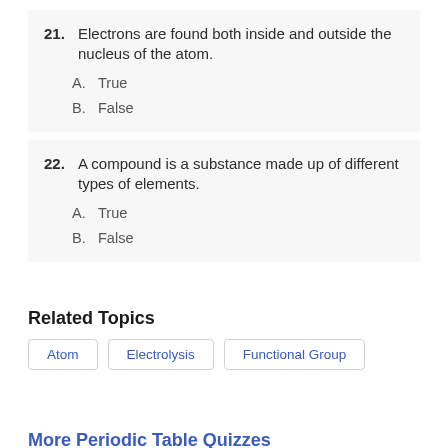21. Electrons are found both inside and outside the nucleus of the atom.
  A. True
  B. False
22. A compound is a substance made up of different types of elements.
  A. True
  B. False
Related Topics
Atom   Electrolysis   Functional Group
More Periodic Table Quizzes